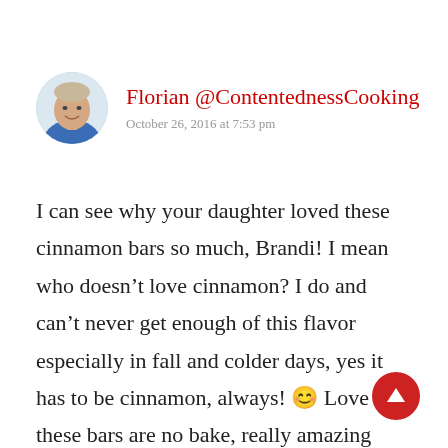[Figure (photo): Circular avatar photo of a man wearing a blue shirt, shown from shoulders up, light background]
Florian @ContentednessCooking
October 26, 2016 at 7:53 pm
I can see why your daughter loved these cinnamon bars so much, Brandi! I mean who doesn’t love cinnamon? I do and can’t never get enough of this flavor especially in fall and colder days, yes it has to be cinnamon, always! 😊 Love that these bars are no bake, really amazing idea and a clever timesaver to make these without any baking.